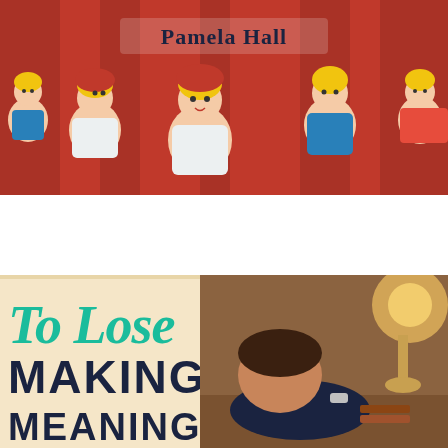[Figure (photo): Top banner photo showing colorful toy figures (Playmobil-style) with yellow hair, dressed in red and blue, arranged in a row. Text overlay reads 'Pamela Hall' in a stylized font.]
[Figure (photo): Bottom-left book cover thumbnail on a cream/beige background with text 'To Lose MAKING MEANINGFUL' in teal/dark blue bold typography.]
[Figure (photo): Bottom-right photo showing a person resting their head on their hand on a desk, with a warm lamp and books visible in the background.]